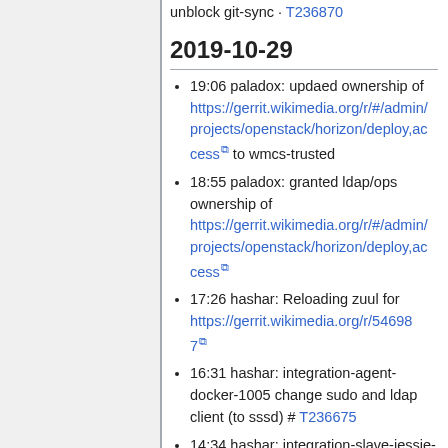unblock git-sync · T236870
2019-10-29
19:06 paladox: updaed ownership of https://gerrit.wikimedia.org/r/#/admin/projects/openstack/horizon/deploy,access to wmcs-trusted
18:55 paladox: granted ldap/ops ownership of https://gerrit.wikimedia.org/r/#/admin/projects/openstack/horizon/deploy,access
17:26 hashar: Reloading zuul for https://gerrit.wikimedia.org/r/546987
16:31 hashar: integration-agent-docker-1005 change sudo and ldap client (to sssd) # T236675
14:34 hashar: integration-slave-jessie-* : rm